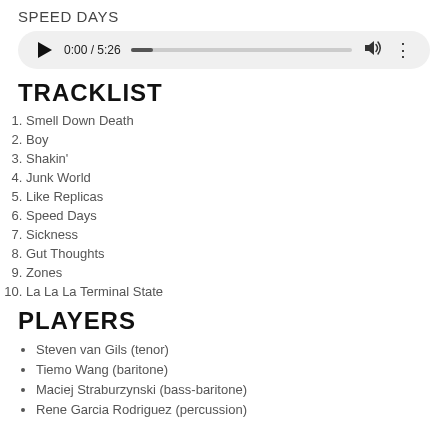SPEED DAYS
[Figure (other): Audio player widget showing 0:00 / 5:26 with play button, progress bar, volume icon, and more options icon]
TRACKLIST
1. Smell Down Death
2. Boy
3. Shakin'
4. Junk World
5. Like Replicas
6. Speed Days
7. Sickness
8. Gut Thoughts
9. Zones
10. La La La Terminal State
PLAYERS
Steven van Gils (tenor)
Tiemo Wang (baritone)
Maciej Straburzynski (bass-baritone)
Rene Garcia Rodriguez (percussion)